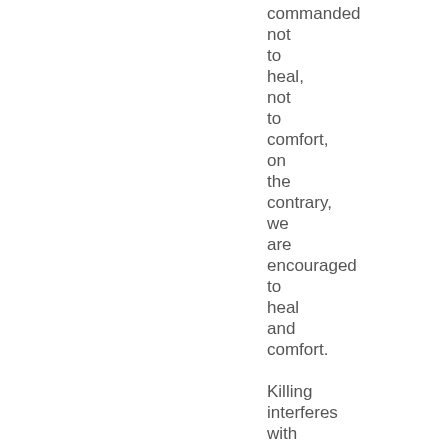commanded
not
to
heal,
not
to
comfort,
on
the
contrary,
we
are
encouraged
to
heal
and
comfort.

Killing
interferes
with
God’s
plan
by
cutting
short
the